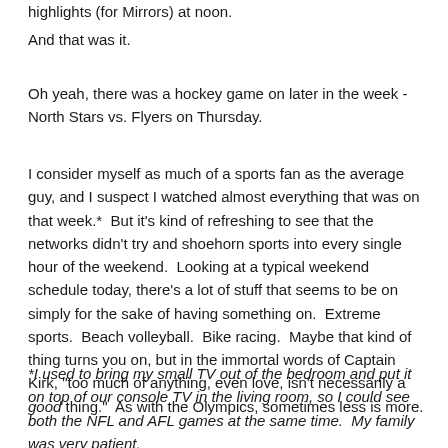highlights (for Mirrors) at noon.
And that was it.
Oh yeah, there was a hockey game on later in the week - North Stars vs. Flyers on Thursday.
I consider myself as much of a sports fan as the average guy, and I suspect I watched almost everything that was on that week.*  But it's kind of refreshing to see that the networks didn't try and shoehorn sports into every single hour of the weekend.  Looking at a typical weekend schedule today, there's a lot of stuff that seems to be on simply for the sake of having something on.  Extreme sports.  Beach volleyball.  Bike racing.  Maybe that kind of thing turns you on, but in the immortal words of Captain Kirk, "too much of anything, even love, isn't necessarily a good thing."  As with the Olympics, sometimes less is more.
*I used to bring my small TV out of the bedroom and put it on top of our console TV in the living room, so I could see both the NFL and AFL games at the same time.  My family was very patient.